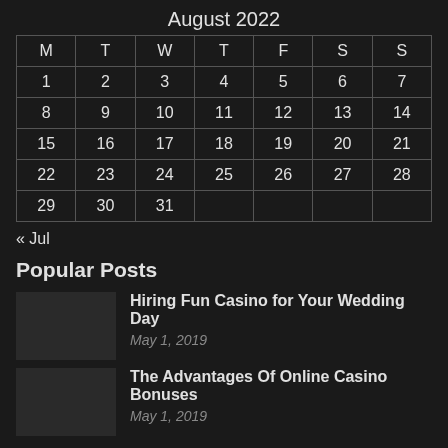August 2022
| M | T | W | T | F | S | S |
| --- | --- | --- | --- | --- | --- | --- |
| 1 | 2 | 3 | 4 | 5 | 6 | 7 |
| 8 | 9 | 10 | 11 | 12 | 13 | 14 |
| 15 | 16 | 17 | 18 | 19 | 20 | 21 |
| 22 | 23 | 24 | 25 | 26 | 27 | 28 |
| 29 | 30 | 31 |  |  |  |  |
« Jul
Popular Posts
Hiring Fun Casino for Your Wedding Day
May 1, 2019
The Advantages Of Online Casino Bonuses
May 1, 2019